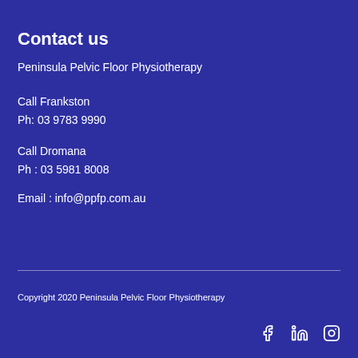Contact us
Peninsula Pelvic Floor Physiotherapy
Call Frankston
Ph: 03 9783 9990
Call Dromana
Ph : 03 5981 8008
Email : info@ppfp.com.au
Copyright 2020 Peninsula Pelvic Floor Physiotherapy